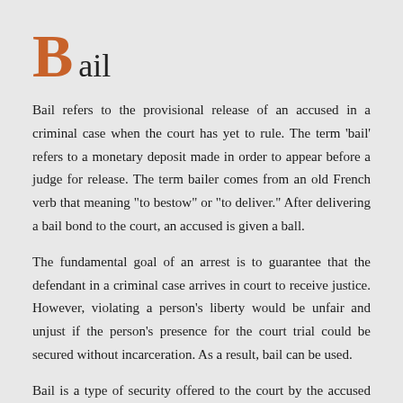Bail
Bail refers to the provisional release of an accused in a criminal case when the court has yet to rule. The term 'bail' refers to a monetary deposit made in order to appear before a judge for release. The term bailer comes from an old French verb that meaning "to bestow" or "to deliver." After delivering a bail bond to the court, an accused is given a ball.
The fundamental goal of an arrest is to guarantee that the defendant in a criminal case arrives in court to receive justice. However, violating a person's liberty would be unfair and unjust if the person's presence for the court trial could be secured without incarceration. As a result, bail can be used.
Bail is a type of security offered to the court by the accused that he would appear in court to face the charges levelled